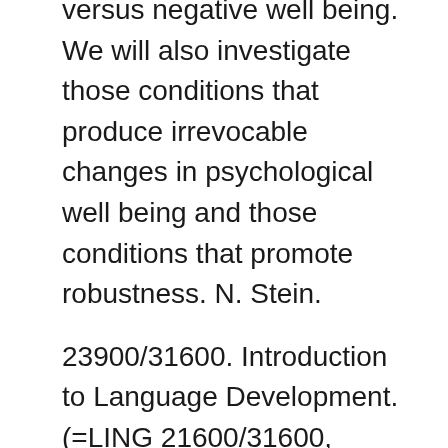versus negative well being. We will also investigate those conditions that produce irrevocable changes in psychological well being and those conditions that promote robustness. N. Stein.
23900/31600. Introduction to Language Development. (=LING 21600/31600, PSYC 23200/33200) This course addresses the major issues involved in first-language acquisition. We deal with the child's production and perception of speech sounds (phonology), the acquisition of the lexicon (semantics), the comprehension and production of structured word combinations (syntax), and the ability to use language to